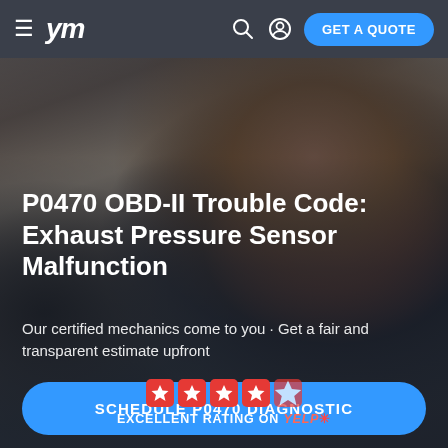ym | GET A QUOTE
[Figure (photo): Mechanic in red uniform smiling, working outdoors near a car]
P0470 OBD-II Trouble Code: Exhaust Pressure Sensor Malfunction
Our certified mechanics come to you · Get a fair and transparent estimate upfront
SCHEDULE P0470 DIAGNOSTIC
EXCELLENT RATING ON yelp